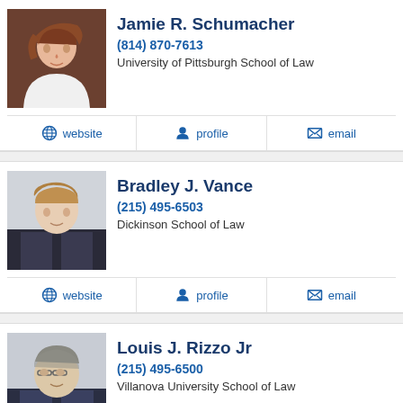[Figure (photo): Headshot of Jamie R. Schumacher, a woman with reddish-brown hair]
Jamie R. Schumacher
(814) 870-7613
University of Pittsburgh School of Law
website | profile | email
[Figure (photo): Headshot of Bradley J. Vance, a man in a suit]
Bradley J. Vance
(215) 495-6503
Dickinson School of Law
website | profile | email
[Figure (photo): Headshot of Louis J. Rizzo Jr, a man with glasses in a suit]
Louis J. Rizzo Jr
(215) 495-6500
Villanova University School of Law